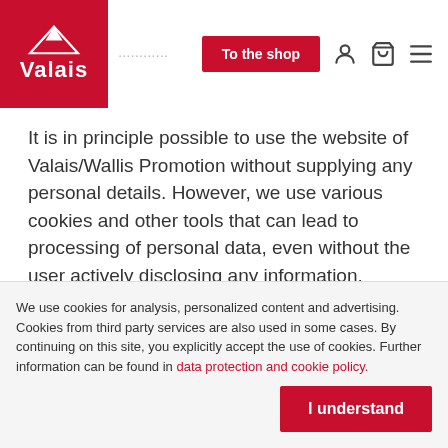Valais | To the shop
It is in principle possible to use the website of Valais/Wallis Promotion without supplying any personal details. However, we use various cookies and other tools that can lead to processing of personal data, even without the user actively disclosing any information.
When visiting our website for the first time, every user is expressly made aware, by means of a so-called banner,
We use cookies for analysis, personalized content and advertising. Cookies from third party services are also used in some cases. By continuing on this site, you explicitly accept the use of cookies. Further information can be found in data protection and cookie policy.
I understand